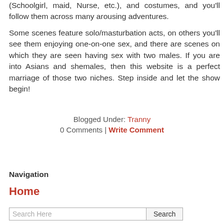(Schoolgirl, maid, Nurse, etc.), and costumes, and you'll follow them across many arousing adventures.
Some scenes feature solo/masturbation acts, on others you'll see them enjoying one-on-one sex, and there are scenes on which they are seen having sex with two males. If you are into Asians and shemales, then this website is a perfect marriage of those two niches. Step inside and let the show begin!
Blogged Under: Tranny
0 Comments | Write Comment
Navigation
Home
Search Here  Search